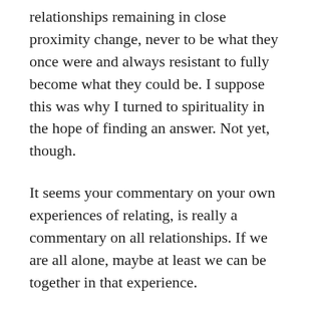relationships remaining in close proximity change, never to be what they once were and always resistant to fully become what they could be. I suppose this was why I turned to spirituality in the hope of finding an answer. Not yet, though.
It seems your commentary on your own experiences of relating, is really a commentary on all relationships. If we are all alone, maybe at least we can be together in that experience.
Thanks for the honesty, it was a